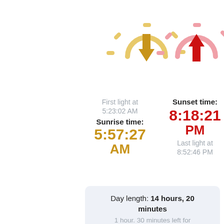[Figure (illustration): Two sun icons side by side: left sun is golden/yellow with an upward arrow (sunrise), right sun is pink/red with a downward arrow (sunset)]
First light at 5:23:02 AM
Sunrise time: 5:57:27 AM
Sunset time: 8:18:21 PM
Last light at 8:52:46 PM
Day length: 14 hours, 20 minutes
1 hour. 30 minutes left for